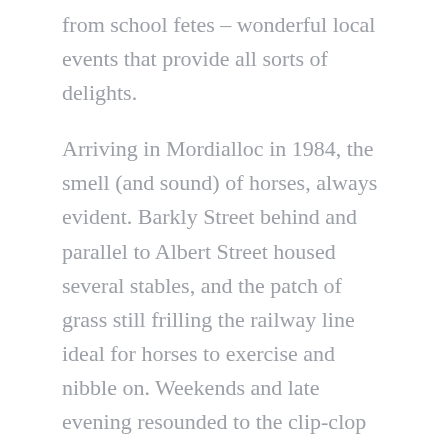from school fetes – wonderful local events that provide all sorts of delights.
Arriving in Mordialloc in 1984, the smell (and sound) of horses, always evident. Barkly Street behind and parallel to Albert Street housed several stables, and the patch of grass still frilling the railway line ideal for horses to exercise and nibble on. Weekends and late evening resounded to the clip-clop of horses. They also left reminders of their visit.
In Life Stories classes people remember 'the olden days' when horsepower was the transport and their parents, or child selves rushed out and scooped up the manure as fertiliser for flower gardens and veggie patches. I'm not that devoted a gardener – I choose hardy plants that survive with the minimum